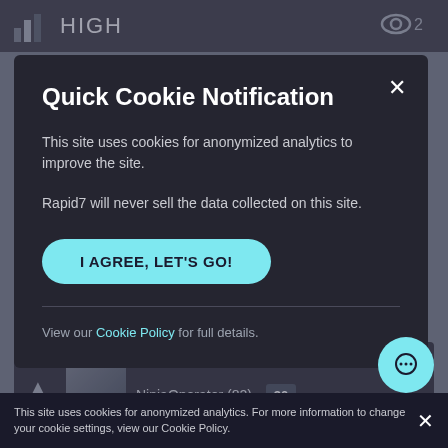HIGH  👁 2
Quick Cookie Notification
This site uses cookies for anonymized analytics to improve the site.
Rapid7 will never sell the data collected on this site.
I AGREE, LET'S GO!
View our Cookie Policy for full details.
NinjaOperator (82)  30
This site uses cookies for anonymized analytics. For more information to change your cookie settings, view our Cookie Policy.